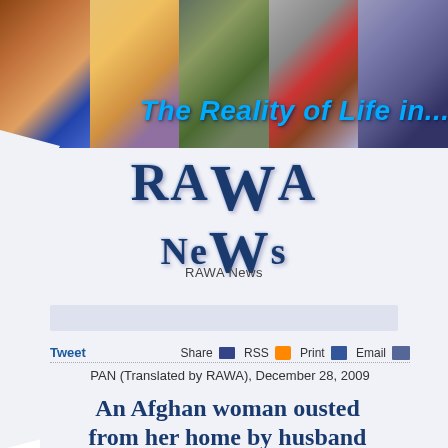[Figure (photo): Header banner with collage of photos of Afghan women and scenes, with text overlay 'The Reality of Life in...']
[Figure (logo): RAWA News logo with large stylized text 'RAWA NeWs' in dark blue with shadow effects, and subtitle 'RAWA News']
Tweet   Share  RSS  Print  Email
PAN (Translated by RAWA), December 28, 2009
An Afghan woman ousted from her home by husband dies of cold